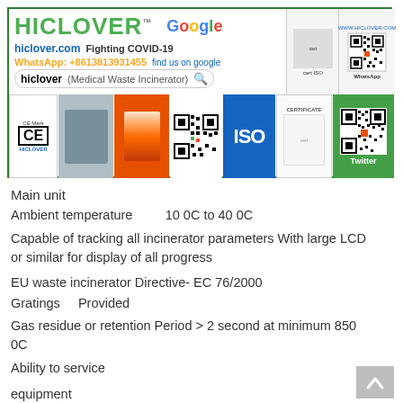[Figure (infographic): HICLOVER company banner with logo, COVID-19 messaging, WhatsApp number, Google search suggestion, CE mark, product images, ISO logo, certificate, QR codes for WhatsApp and Twitter]
Main unit
Ambient temperature        10 0C to 40 0C
Capable of tracking all incinerator parameters With large LCD or similar for display of all progress
EU waste incinerator Directive- EC 76/2000
Gratings      Provided
Gas residue or retention Period > 2 second at minimum 850 0C
Ability to service
equipment